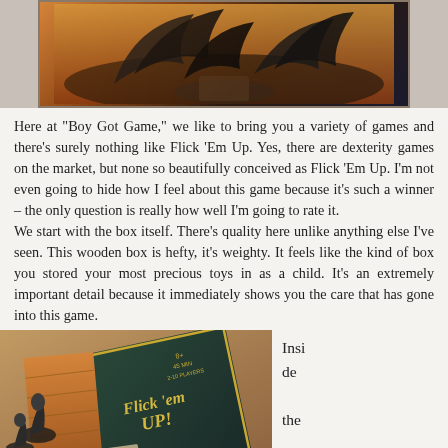[Figure (photo): Top photo showing a board game box cover with dark illustrated artwork featuring feathers/birds on a decorated background]
Here at "Boy Got Game," we like to bring you a variety of games and there's surely nothing like Flick 'Em Up. Yes, there are dexterity games on the market, but none so beautifully conceived as Flick 'Em Up. I'm not even going to hide how I feel about this game because it's such a winner – the only question is really how well I'm going to rate it. We start with the box itself. There's quality here unlike anything else I've seen. This wooden box is hefty, it's weighty. It feels like the kind of box you stored your most precious toys in as a child. It's an extremely important detail because it immediately shows you the care that has gone into this game.
[Figure (photo): Photo showing the inside of the Flick 'Em Up game box, with wooden board pieces, miniature figures, the main game box lid showing the Flick 'em UP! logo in gold text, and a rule book corner visible]
Inside the box is an